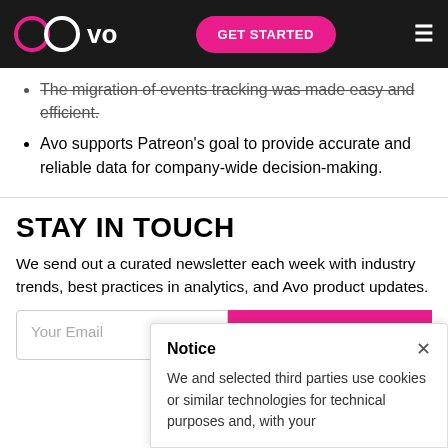avo | GET STARTED
The migration of events tracking was made easy and efficient.
Avo supports Patreon's goal to provide accurate and reliable data for company-wide decision-making.
STAY IN TOUCH
We send out a curated newsletter each week with industry trends, best practices in analytics, and Avo product updates.
Your Email
SUBSCRIBE
Notice
We and selected third parties use cookies or similar technologies for technical purposes and, with your